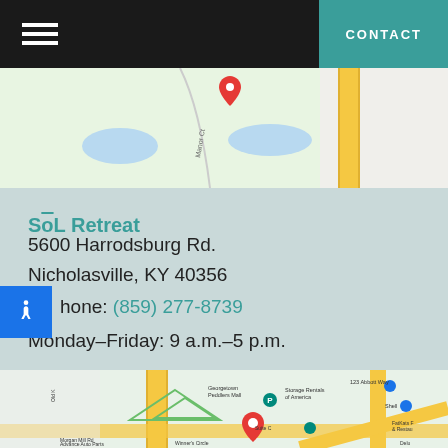CONTACT
[Figure (map): Google Maps top strip showing green park area with blue water features and a yellow road, with a red map pin marker.]
SōL Retreat
5600 Harrodsburg Rd.
Nicholasville, KY 40356
Phone: (859) 277-8739
Monday–Friday: 9 a.m.–5 p.m.
[Figure (map): Google Maps showing area around Suite C with Georgetown Peddlers Mall, Storage Rentals of America, Shell, FatKats Restaurant, Advance Auto Parts, Winner's Circle, and surrounding roads. Red map pin marks the location.]